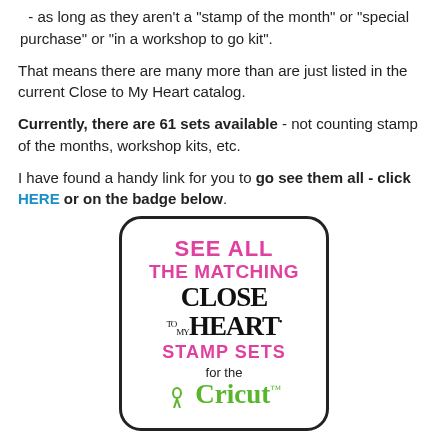- as long as they aren't a "stamp of the month" or "special purchase" or "in a workshop to go kit".
That means there are many more than are just listed in the current Close to My Heart catalog.
Currently, there are 61 sets available - not counting stamp of the months, workshop kits, etc.
I have found a handy link for you to go see them all - click HERE or on the badge below.
[Figure (logo): Badge reading 'See all the matching Close to My Heart Stamp Sets for the Cricut' with pink and green text on white rounded rectangle with black border]